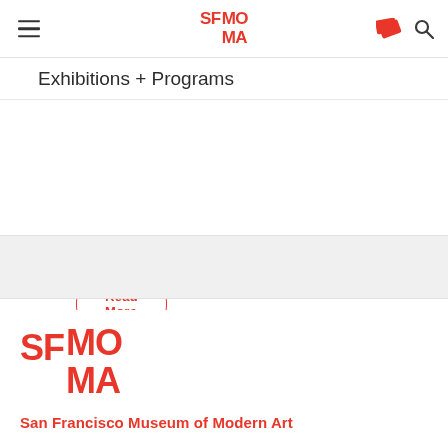SFMOMA
Exhibitions + Programs
Read More
[Figure (logo): SFMOMA logo large - SF in regular weight, MO MA stacked in bold, all in red]
San Francisco Museum of Modern Art
SFMOMA